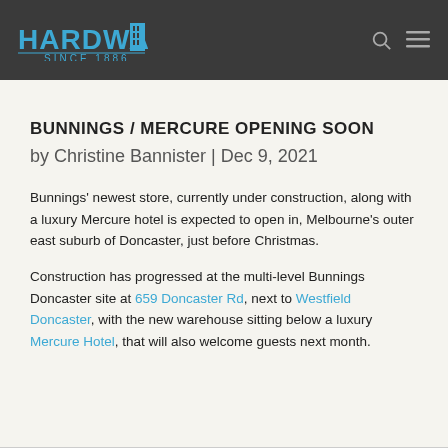HARDWARE SINCE 1886
BUNNINGS / MERCURE OPENING SOON
by Christine Bannister | Dec 9, 2021
Bunnings' newest store, currently under construction, along with a luxury Mercure hotel is expected to open in, Melbourne's outer east suburb of Doncaster, just before Christmas.
Construction has progressed at the multi-level Bunnings Doncaster site at 659 Doncaster Rd, next to Westfield Doncaster, with the new warehouse sitting below a luxury Mercure Hotel, that will also welcome guests next month.